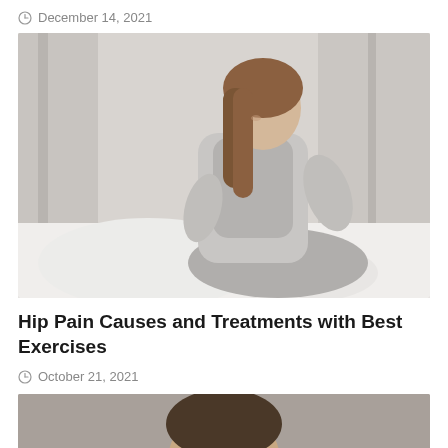December 14, 2021
[Figure (photo): Woman in gray sleeveless top and sweatpants sitting on a bed, leaning forward and holding her lower back/hip area with both hands, appearing to be in pain. Background shows curtains and pillows.]
Hip Pain Causes and Treatments with Best Exercises
October 21, 2021
[Figure (photo): Partial view of a person, only the top of their head visible, cropped at the bottom of the page.]